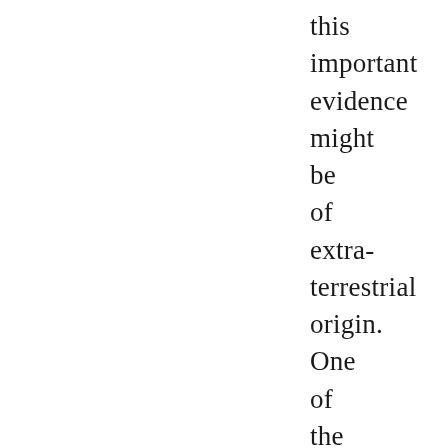this important evidence might be of extra- terrestrial origin. One of the tubes. together with its plastic strips - was subjected